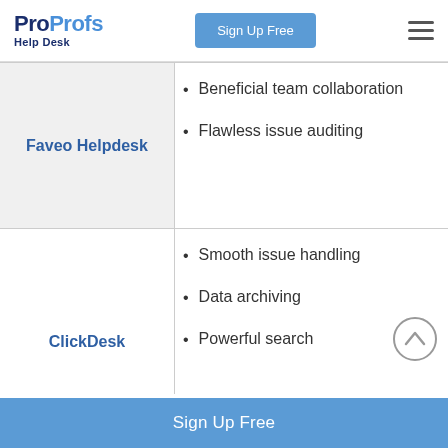ProProfs Help Desk — Sign Up Free
| Tool | Features |
| --- | --- |
| Faveo Helpdesk | Beneficial team collaboration
Flawless issue auditing |
| ClickDesk | Smooth issue handling
Data archiving
Powerful search |
Sign Up Free